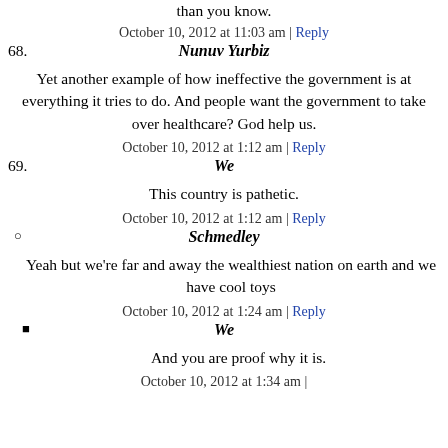than you know.
October 10, 2012 at 11:03 am | Reply
68.  Nunuv Yurbiz
Yet another example of how ineffective the government is at everything it tries to do. And people want the government to take over healthcare? God help us.
October 10, 2012 at 1:12 am | Reply
69.  We
This country is pathetic.
October 10, 2012 at 1:12 am | Reply
○  Schmedley
Yeah but we're far and away the wealthiest nation on earth and we have cool toys
October 10, 2012 at 1:24 am | Reply
■  We
And you are proof why it is.
October 10, 2012 at 1:34 am |